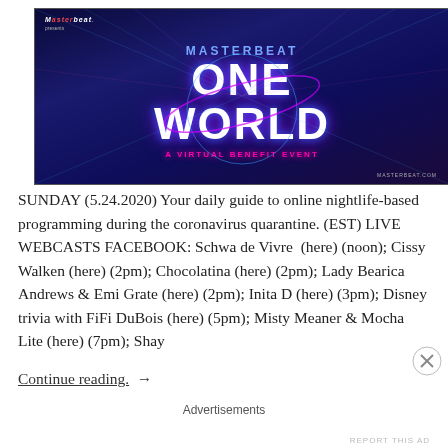[Figure (illustration): Masterbeat presents ONE WORLD - A Virtual Benefit Event promotional banner with blue/purple cosmic background, glowing text, and orbital rings around a globe]
SUNDAY (5.24.2020) Your daily guide to online nightlife-based programming during the coronavirus quarantine. (EST) LIVE WEBCASTS FACEBOOK: Schwa de Vivre  (here) (noon); Cissy Walken (here) (2pm); Chocolatina (here) (2pm); Lady Bearica Andrews & Emi Grate (here) (2pm); Inita D (here) (3pm); Disney trivia with FiFi DuBois (here) (5pm); Misty Meaner & Mocha Lite (here) (7pm); Shay
Continue reading.  →
Advertisements